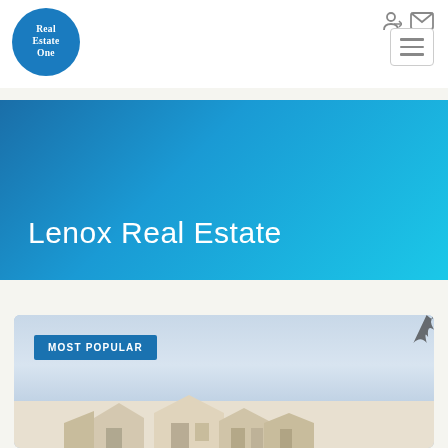[Figure (logo): Real Estate One circular blue logo with white serif text]
[Figure (other): Navigation icons: login (person with arrow) and mail/envelope icon, top right]
[Figure (other): Hamburger menu button with three horizontal lines, bordered rectangle]
Lenox Real Estate
[Figure (photo): Property listing photo with overcast blue-grey sky, rooftop of houses visible at the bottom, MOST POPULAR badge overlay, dark tree silhouette in top right corner]